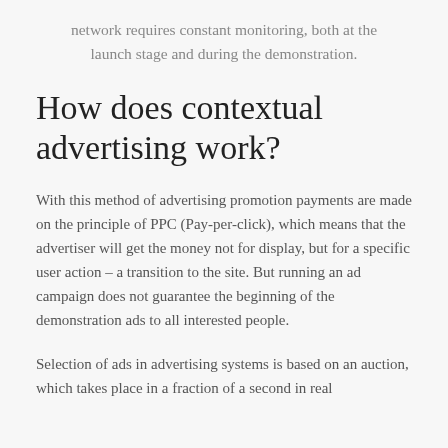network requires constant monitoring, both at the launch stage and during the demonstration.
How does contextual advertising work?
With this method of advertising promotion payments are made on the principle of PPC (Pay-per-click), which means that the advertiser will get the money not for display, but for a specific user action – a transition to the site. But running an ad campaign does not guarantee the beginning of the demonstration ads to all interested people.
Selection of ads in advertising systems is based on an auction, which takes place in a fraction of a second in real